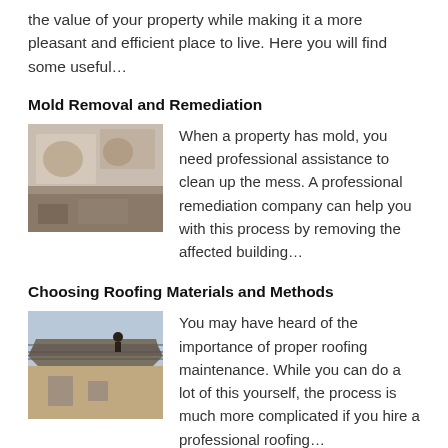the value of your property while making it a more pleasant and efficient place to live. Here you will find some useful…
Mold Removal and Remediation
[Figure (photo): Photo of mold on a wall surface]
When a property has mold, you need professional assistance to clean up the mess. A professional remediation company can help you with this process by removing the affected building…
Choosing Roofing Materials and Methods
[Figure (photo): Photo of workers on a rooftop doing roofing work]
You may have heard of the importance of proper roofing maintenance. While you can do a lot of this yourself, the process is much more complicated if you hire a professional roofing…
How To Get More Leads For Your Business
It can be challenging to generate leads for your business. However, you can make it easier by following these tips: